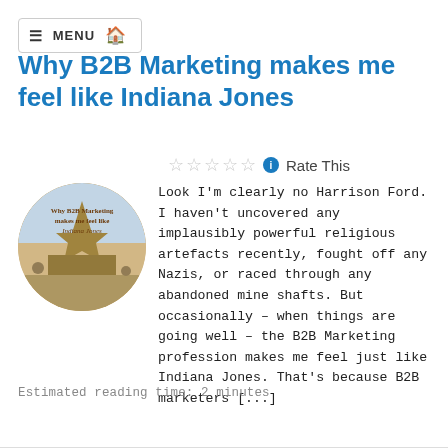≡ MENU 🏠
Why B2B Marketing makes me feel like Indiana Jones
☆☆☆☆☆ ℹ Rate This
[Figure (photo): Circular thumbnail image with text 'Why B2B Marketing makes me feel like Indiana Jones' overlaid on an image of a temple/monument]
Look I'm clearly no Harrison Ford. I haven't uncovered any implausibly powerful religious artefacts recently, fought off any Nazis, or raced through any abandoned mine shafts. But occasionally – when things are going well – the B2B Marketing profession makes me feel just like Indiana Jones. That's because B2B marketers [...]
Estimated reading time: 2 minutes